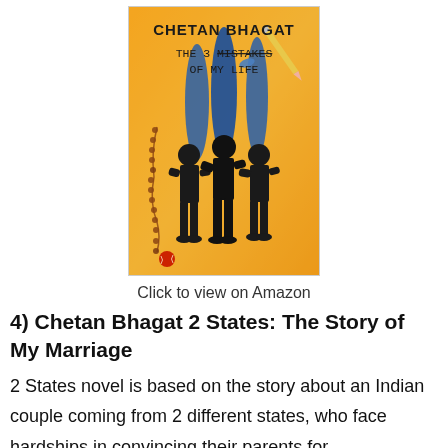[Figure (illustration): Book cover of 'The 3 Mistakes of My Life' by Chetan Bhagat. Orange/yellow background with three dark silhouettes of men standing, blue brush strokes behind them, a rosary bead string on the left, a cricket ball at the bottom left, and a pencil at the top right. Title text is handwritten-style with strikethrough on 'MISTAKES'.]
Click to view on Amazon
4) Chetan Bhagat 2 States: The Story of My Marriage
2 States novel is based on the story about an Indian couple coming from 2 different states, who face hardships in convincing their parents for